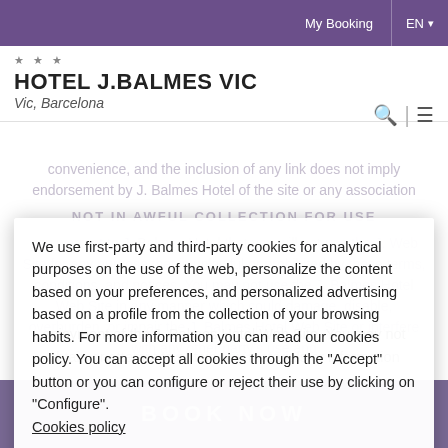My Booking  EN
★★★
HOTEL J.BALMES VIC
Vic, Barcelona
convenience, and the inclusion of any link does not imply endorsement by J. Balmes Hotel of the site or any association
NOT IN AWFUL COLLECTION FOR USE
You warrant to J. Balmes Hotel that you will not use the J. Web Site for any purpose that is unlawful or prohibited by these terms, conditions, and notices. You may not use the J. Balmes Hotel Web Site in any manner which could damage, disable, overburden, or impair the J. Balmes Hotel Web Site or interfere with any other party's use and enjoyment of the J. Balmes Hotel Web Site. You may not obtain or attempt to obtain any materials or information
We use first-party and third-party cookies for analytical purposes on the use of the web, personalize the content based on your preferences, and personalized advertising based on a profile from the collection of your browsing habits. For more information you can read our cookies policy. You can accept all cookies through the "Accept" button or you can configure or reject their use by clicking on "Configure".
Cookies policy
Configure
ACCEPT
BOOK NOW